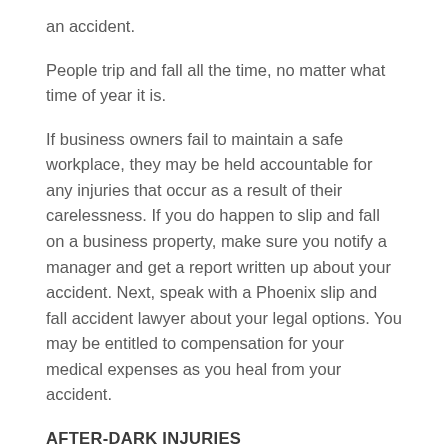an accident.
People trip and fall all the time, no matter what time of year it is.
If business owners fail to maintain a safe workplace, they may be held accountable for any injuries that occur as a result of their carelessness. If you do happen to slip and fall on a business property, make sure you notify a manager and get a report written up about your accident. Next, speak with a Phoenix slip and fall accident lawyer about your legal options. You may be entitled to compensation for your medical expenses as you heal from your accident.
AFTER-DARK INJURIES
There is less daylight in the fall, making it harder to get things done during the day.